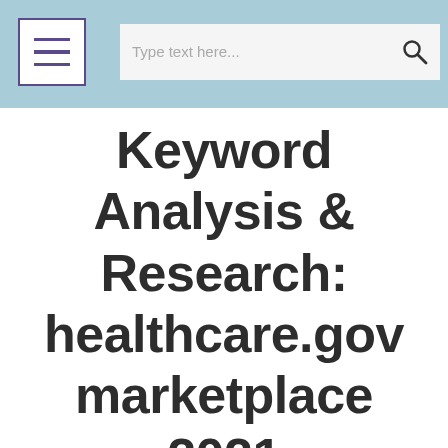Type text here...
Keyword Analysis & Research: healthcare.gov marketplace 2021